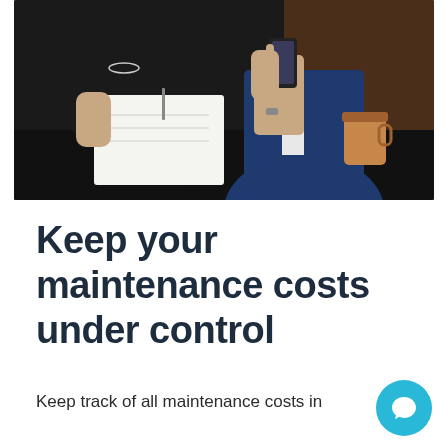[Figure (photo): Two business professionals sitting together, one writing in a notebook and one holding a smartphone. A coffee cup is visible on the table.]
Keep your maintenance costs under control
Keep track of all maintenance costs in one place with the maintenance cost